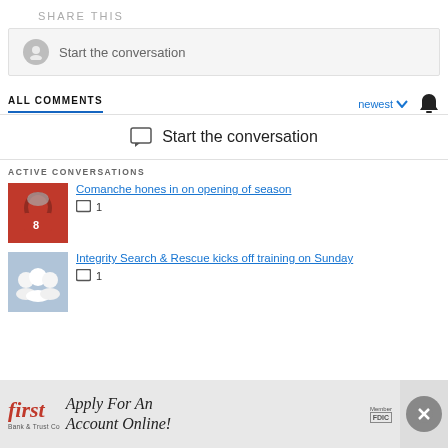SHARE THIS
Start the conversation
ALL COMMENTS
newest
Start the conversation
ACTIVE CONVERSATIONS
Comanche hones in on opening of season
1
Integrity Search & Rescue kicks off training on Sunday
1
[Figure (screenshot): Advertisement for First Bank & Trust Co — Apply For An Account Online! with FDIC logo and close button]